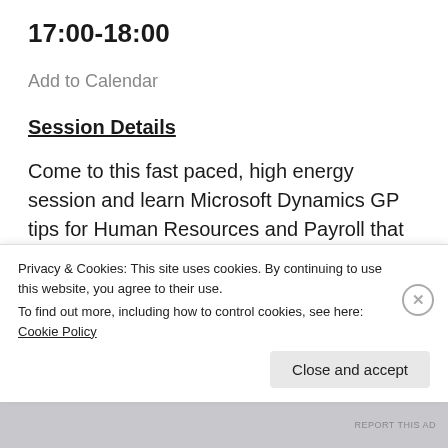17:00-18:00
Add to Calendar
Session Details
Come to this fast paced, high energy session and learn Microsoft Dynamics GP tips for Human Resources and Payroll that you'll want to implement immediately. This popular session, based on Mark…
Privacy & Cookies: This site uses cookies. By continuing to use this website, you agree to their use.
To find out more, including how to control cookies, see here: Cookie Policy
Close and accept